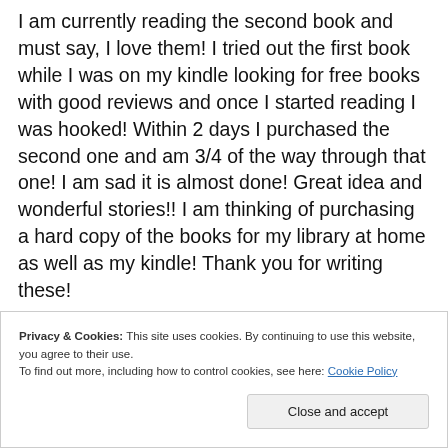I am currently reading the second book and must say, I love them! I tried out the first book while I was on my kindle looking for free books with good reviews and once I started reading I was hooked! Within 2 days I purchased the second one and am 3/4 of the way through that one! I am sad it is almost done! Great idea and wonderful stories!! I am thinking of purchasing a hard copy of the books for my library at home as well as my kindle! Thank you for writing these!
Privacy & Cookies: This site uses cookies. By continuing to use this website, you agree to their use.
To find out more, including how to control cookies, see here: Cookie Policy
Close and accept
This has touched me so much, Lindsay.